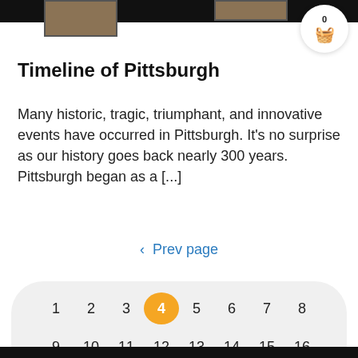[Figure (other): Top navigation bar with partial image thumbnails and shopping cart icon showing count 0]
Timeline of Pittsburgh
Many historic, tragic, triumphant, and innovative events have occurred in Pittsburgh. It's no surprise as our history goes back nearly 300 years. Pittsburgh began as a [...]
‹ Prev page
[Figure (other): Pagination calendar widget showing numbers 1-20 arranged in rows, with number 4 highlighted in an orange circle as the active/current page]
Next page ›